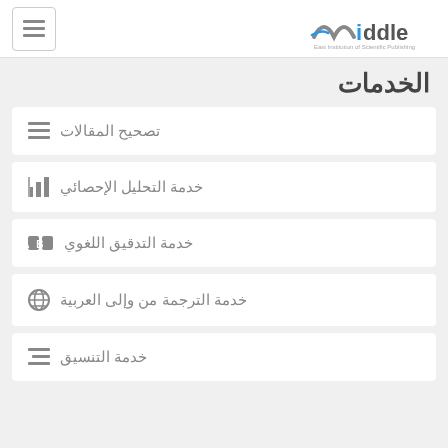Middle East Institution of Scientific Publishing
الخدمات
تصحيح المقالات
خدمة التحليل الإحصائي
خدمة التدقيق اللغوي
خدمة الترجمة من وإلى العربية
خدمة التنسيق